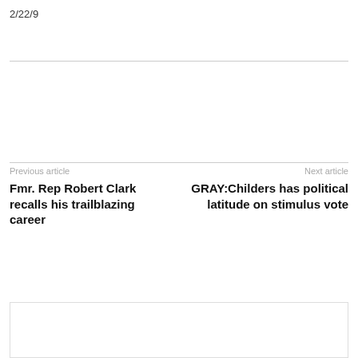2/22/9
Previous article
Fmr. Rep Robert Clark recalls his trailblazing career
Next article
GRAY:Childers has political latitude on stimulus vote